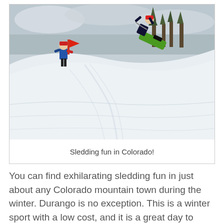[Figure (photo): Two people sledding on a snowy hill in Colorado. One person in a red hat and dark jacket is riding a green sled down the steep snow-covered hill, while another person in a blue jacket stands further up the hill. Trees and a distant town are visible in the background under a cloudy sky.]
Sledding fun in Colorado!
You can find exhilarating sledding fun in just about any Colorado mountain town during the winter. Durango is no exception. This is a winter sport with a low cost, and it is a great day to have socially